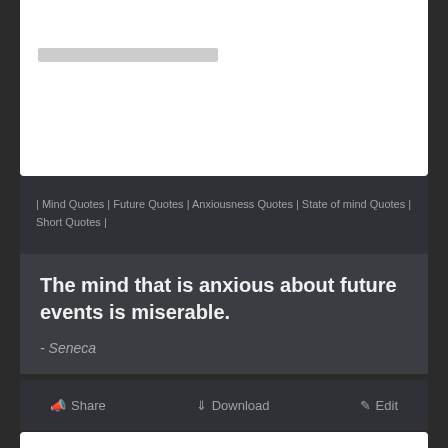[Figure (screenshot): Top white card with a gray placeholder bar]
| Mind Quotes | Future Quotes | Anxiousness Quotes | State of mind Quotes | Short Quotes |
The mind that is anxious about future events is miserable.
- Seneca
Share   Download   Edit
[Figure (screenshot): Bottom white card with avatar placeholder and name bars]